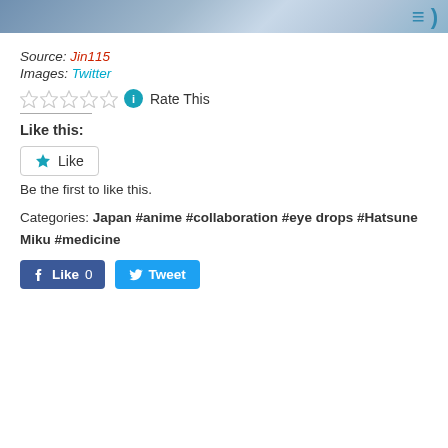[Figure (photo): Top strip of a photo showing anime/medical product items with teal color accents]
Source: Jin115
Images: Twitter
Rate This
Like this:
Be the first to like this.
Categories: Japan #anime #collaboration #eye drops #Hatsune Miku #medicine